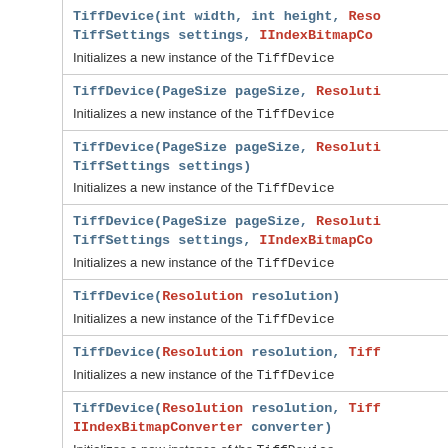TiffDevice(int width, int height, Resolution ... TiffSettings settings, IIndexBitmapConverter ... Initializes a new instance of the TiffDevice
TiffDevice(PageSize pageSize, Resolution ... Initializes a new instance of the TiffDevice
TiffDevice(PageSize pageSize, Resolution ... TiffSettings settings) Initializes a new instance of the TiffDevice
TiffDevice(PageSize pageSize, Resolution ... TiffSettings settings, IIndexBitmapConverter ... Initializes a new instance of the TiffDevice
TiffDevice(Resolution resolution) Initializes a new instance of the TiffDevice
TiffDevice(Resolution resolution, Tiff... Initializes a new instance of the TiffDevice
TiffDevice(Resolution resolution, Tiff... IIndexBitmapConverter converter) Initializes a new instance of the TiffDevice